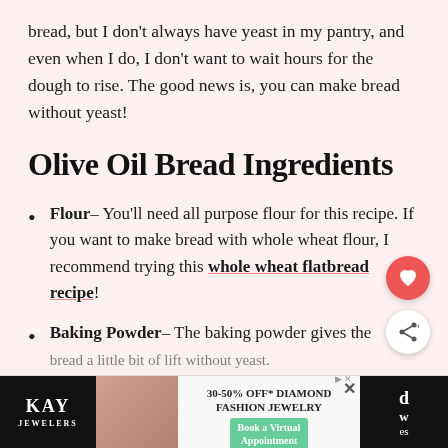bread, but I don't always have yeast in my pantry, and even when I do, I don't want to wait hours for the dough to rise. The good news is, you can make bread without yeast!
Olive Oil Bread Ingredients
Flour– You'll need all purpose flour for this recipe. If you want to make bread with whole wheat flour, I recommend trying this whole wheat flatbread recipe!
Baking Powder– The baking powder gives the bread a little bit of lift without yeast.
[Figure (screenshot): Advertisement banner at bottom: KAY Jewelers ad showing 30-50% off diamond fashion jewelry with Book a Virtual Appointment button]